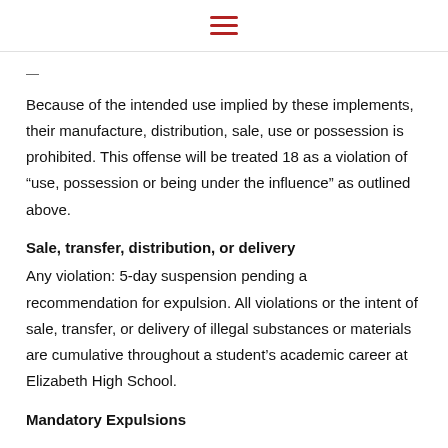≡
Because of the intended use implied by these implements, their manufacture, distribution, sale, use or possession is prohibited. This offense will be treated 18 as a violation of “use, possession or being under the influence” as outlined above.
Sale, transfer, distribution, or delivery
Any violation: 5-day suspension pending a recommendation for expulsion. All violations or the intent of sale, transfer, or delivery of illegal substances or materials are cumulative throughout a student’s academic career at Elizabeth High School.
Mandatory Expulsions